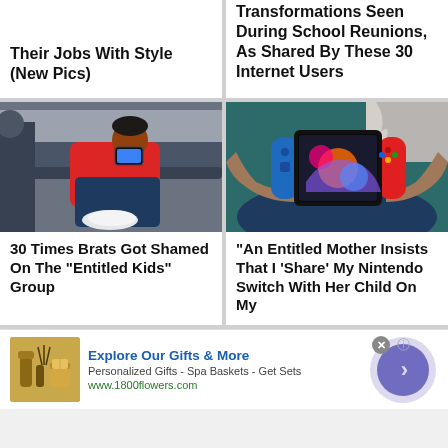Their Jobs With Style (New Pics)
Transformations Seen During School Reunions, As Shared By These 30 Internet Users
[Figure (photo): Boy in red jacket lying across subway seats using a smartphone, wearing white sneakers]
[Figure (photo): Person holding a Nintendo Switch gaming console with colorful game on screen]
30 Times Brats Got Shamed On The "Entitled Kids" Group
"An Entitled Mother Insists That I 'Share' My Nintendo Switch With Her Child On My
Explore Our Gifts & More
Personalized Gifts - Spa Baskets - Get Sets
www.1800flowers.com